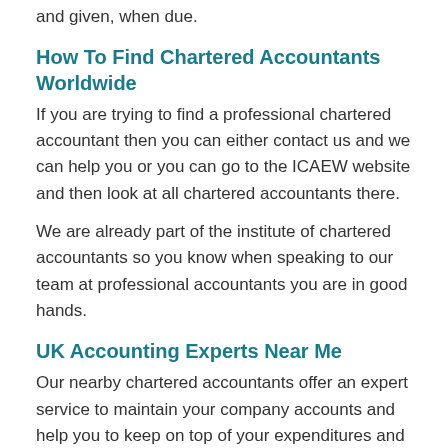and given, when due.
How To Find Chartered Accountants Worldwide
If you are trying to find a professional chartered accountant then you can either contact us and we can help you or you can go to the ICAEW website and then look at all chartered accountants there.
We are already part of the institute of chartered accountants so you know when speaking to our team at professional accountants you are in good hands.
UK Accounting Experts Near Me
Our nearby chartered accountants offer an expert service to maintain your company accounts and help you to keep on top of your expenditures and profits. By allowing a professional accountancy firm to handle the process, you may actually save money. A good quality set of accounts can be used in lots of ways to further improve your business and help you to enhance your sales. Finances can be produced as often as you have to have them. That being said, if you need frequent accurate knowledge about the overall performance of your company then month-to-month management figures will no doubt be ideal for you and